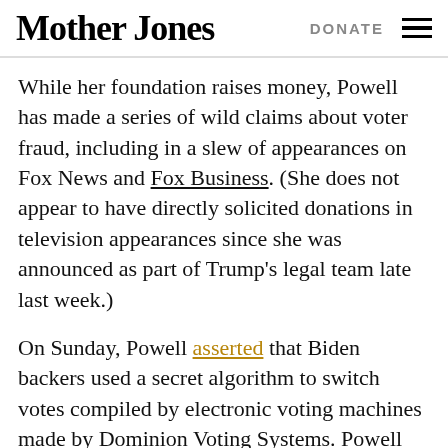Mother Jones | DONATE
While her foundation raises money, Powell has made a series of wild claims about voter fraud, including in a slew of appearances on Fox News and Fox Business. (She does not appear to have directly solicited donations in television appearances since she was announced as part of Trump's legal team late last week.)
On Sunday, Powell asserted that Biden backers used a secret algorithm to switch votes compiled by electronic voting machines made by Dominion Voting Systems. Powell said that technology firms, social media companies, and the news media were part of the conspiracy and that votes may have been altered remotely from Venezuela and Germany. She